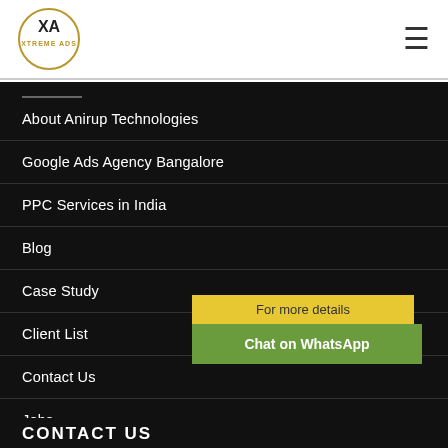XTREME ADS logo and hamburger menu
About Anirup Technologies
Google Ads Agency Bangalore
PPC Services in India
Blog
Case Study
Client List
Contact Us
Jobs
For more details
Chat on WhatsApp
CONTACT US